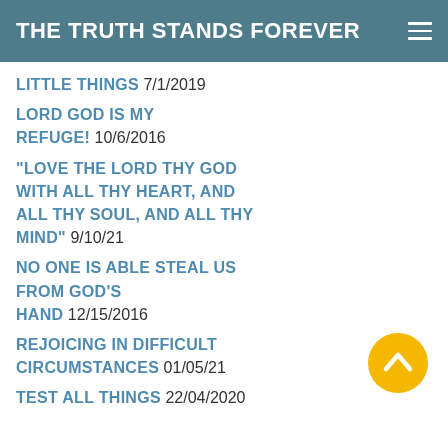THE TRUTH STANDS FOREVER
LITTLE THINGS 7/1/2019
LORD GOD IS MY REFUGE! 10/6/2016
"LOVE THE LORD THY GOD WITH ALL THY HEART, AND ALL THY SOUL, AND ALL THY MIND" 9/10/21
NO ONE IS ABLE STEAL US FROM GOD'S HAND 12/15/2016
REJOICING IN DIFFICULT CIRCUMSTANCES 01/05/21
TEST ALL THINGS 22/04/2020